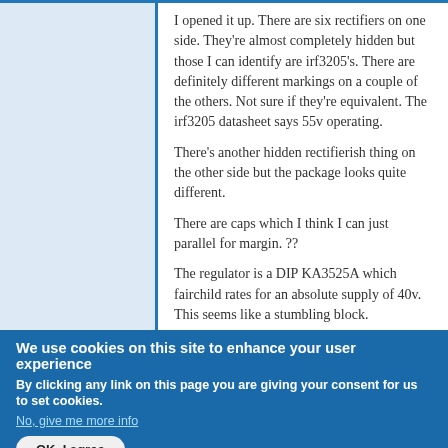I opened it up. There are six rectifiers on one side. They're almost completely hidden but those I can identify are irf3205's. There are definitely different markings on a couple of the others. Not sure if they're equivalent. The irf3205 datasheet says 55v operating.
There's another hidden rectifierish thing on the other side but the package looks quite different.
There are caps which I think I can just parallel for margin. ??
The regulator is a DIP KA3525A which fairchild rates for an absolute supply of 40v. This seems like a stumbling block.
We use cookies on this site to enhance your user experience
By clicking any link on this page you are giving your consent for us to set cookies.
No, give me more info
OK, I agree